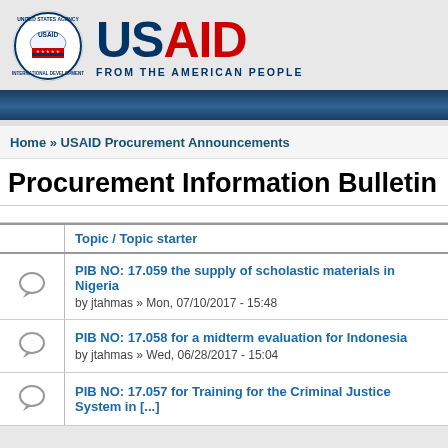[Figure (logo): USAID logo with seal and 'FROM THE AMERICAN PEOPLE' text]
Home » USAID Procurement Announcements
Procurement Information Bulletin
|  | Topic / Topic starter |
| --- | --- |
| [icon] | PIB NO: 17.059 the supply of scholastic materials in Nigeria
by jtahmas » Mon, 07/10/2017 - 15:48 |
| [icon] | PIB NO: 17.058 for a midterm evaluation for Indonesia
by jtahmas » Wed, 06/28/2017 - 15:04 |
| [icon] | PIB NO: 17.057 for Training for the Criminal Justice System in [...] |